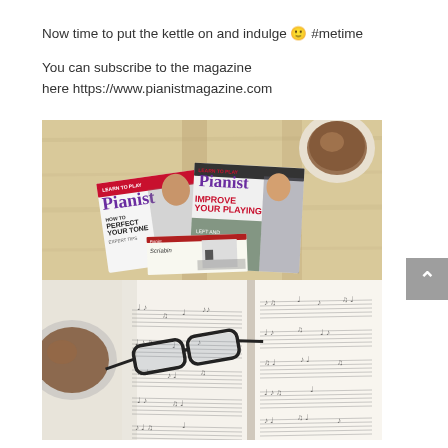Now time to put the kettle on and indulge 🙂 #metime

You can subscribe to the magazine here https://www.pianistmagazine.com
[Figure (photo): Two photos stacked: top photo shows three issues of Pianist magazine laid on a wooden table with a cup of tea/coffee in the upper right corner. Bottom photo shows an open sheet music book with glasses and a mug of coffee/tea visible.]